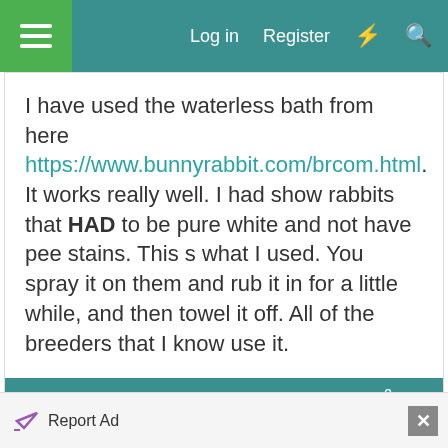Log in   Register
I have used the waterless bath from here https://www.bunnyrabbit.com/brcom.html. It works really well. I had show rabbits that HAD to be pure white and not have pee stains. This s what I used. You spray it on them and rub it in for a little while, and then towel it off. All of the breeders that I know use it.
Sep 28, 2012  #9
BunBuns Human
Well-Known Member
Seems like they have two different products that fit the bill. Which one do you use? Any
Report Ad